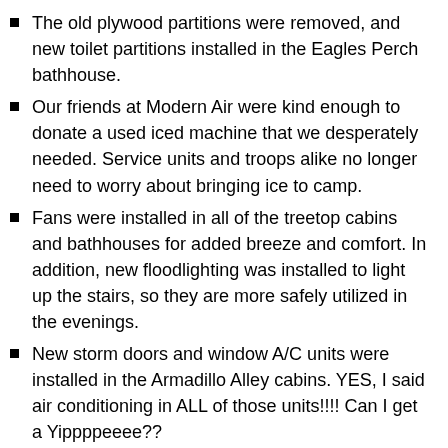The old plywood partitions were removed, and new toilet partitions installed in the Eagles Perch bathhouse.
Our friends at Modern Air were kind enough to donate a used iced machine that we desperately needed. Service units and troops alike no longer need to worry about bringing ice to camp.
Fans were installed in all of the treetop cabins and bathhouses for added breeze and comfort. In addition, new floodlighting was installed to light up the stairs, so they are more safely utilized in the evenings.
New storm doors and window A/C units were installed in the Armadillo Alley cabins. YES, I said air conditioning in ALL of those units!!!! Can I get a Yippppeeee??
Mulch landscaped beds were cleaned out and prepped